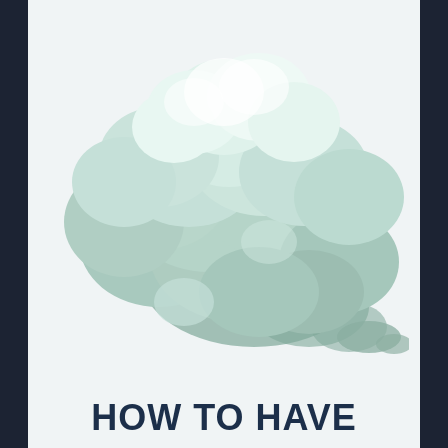[Figure (illustration): A stylized cloud illustration in shades of mint green and sage, shaped somewhat like a speech bubble or brain, with highlights of near-white at the top and darker teal-grey shadows toward the bottom right, with a small wispy tail extending to the lower right.]
HOW TO HAVE